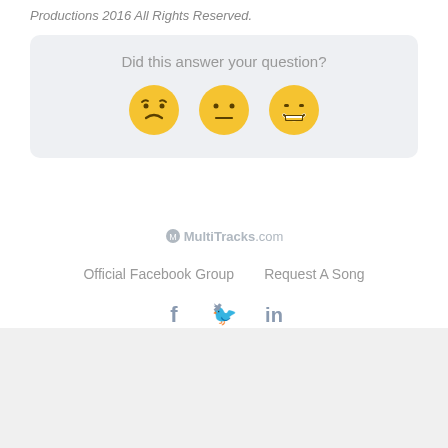Productions 2016 All Rights Reserved.
[Figure (infographic): Feedback widget with question 'Did this answer your question?' and three emoji faces: sad, neutral, happy]
[Figure (logo): MultiTracks.com logo]
Official Facebook Group    Request A Song
[Figure (infographic): Social media icons: Facebook (f), Twitter (bird), LinkedIn (in)]